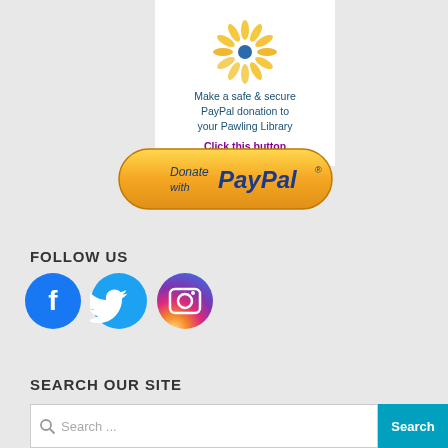[Figure (infographic): PayPal donation widget for Pawling Library with logo, text, and donate button]
Make a safe & secure PayPal donation to your Pawling Library Click this button
[Figure (logo): Donate with PayPal button - orange rounded rectangle button]
FOLLOW US
[Figure (infographic): Social media icons: Facebook (blue circle with f), Twitter (teal circle with bird), Instagram (gradient circle with camera)]
SEARCH OUR SITE
[Figure (screenshot): Search input bar with placeholder text 'Search ...' and a teal Search button]